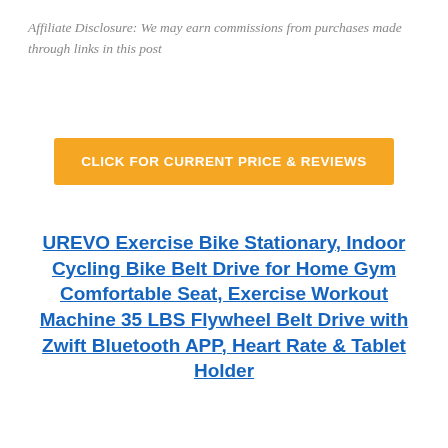Affiliate Disclosure: We may earn commissions from purchases made through links in this post
[Figure (other): Orange button with text: CLICK FOR CURRENT PRICE & REVIEWS]
UREVO Exercise Bike Stationary, Indoor Cycling Bike Belt Drive for Home Gym Comfortable Seat, Exercise Workout Machine 35 LBS Flywheel Belt Drive with Zwift Bluetooth APP, Heart Rate & Tablet Holder